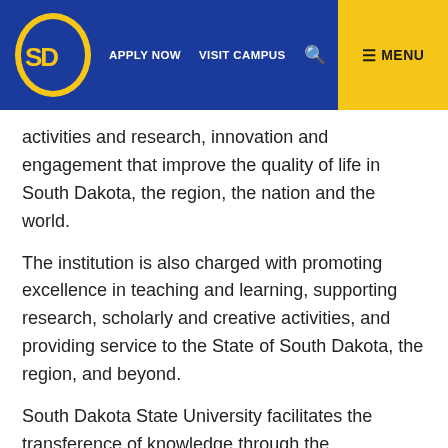SD State University | APPLY NOW | VISIT CAMPUS | MENU
activities and research, innovation and engagement that improve the quality of life in South Dakota, the region, the nation and the world.
The institution is also charged with promoting excellence in teaching and learning, supporting research, scholarly and creative activities, and providing service to the State of South Dakota, the region, and beyond.
South Dakota State University facilitates the transference of knowledge through the Cooperative Extension Service with a presence in every county and through other entities, especially to serve the citizens of South Dakota...